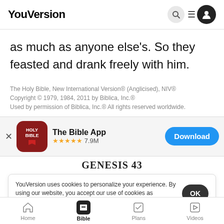YouVersion
as much as anyone else’s. So they feasted and drank freely with him.
The Holy Bible, New International Version® (Anglicised), NIV® Copyright © 1979, 1984, 2011 by Biblica, Inc.® Used by permission of Biblica, Inc.® All rights reserved worldwide.
[Figure (screenshot): App download banner for The Bible App with Holy Bible icon, 5-star rating, 7.9M reviews, and Download button]
GENESIS 43
YouVersion uses cookies to personalize your experience. By using our website, you accept our use of cookies as described in our Privacy Policy.
1-2 The famine got worse. When they had eaten
Home  Bible  Plans  Videos